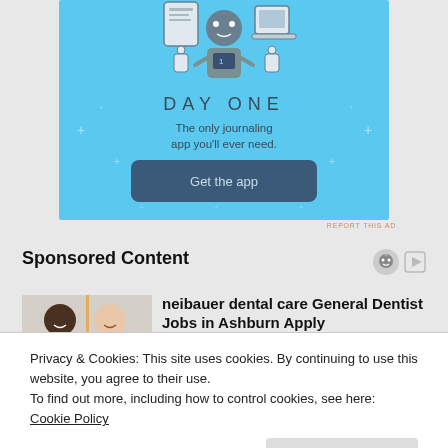[Figure (illustration): Day One journaling app advertisement with light blue background. Shows robot/device characters at top, 'DAY ONE' text, tagline 'The only journaling app you'll ever need.' and a 'Get the app' button.]
REPORT THIS AD
Sponsored Content
[Figure (photo): Photo of two people smiling, dental/professional context.]
neibauer dental care General Dentist Jobs in Ashburn Apply
Privacy & Cookies: This site uses cookies. By continuing to use this website, you agree to their use.
To find out more, including how to control cookies, see here: Cookie Policy
Close and accept
[Figure (photo): Bottom thumbnail image partially visible.]
this Marvel game